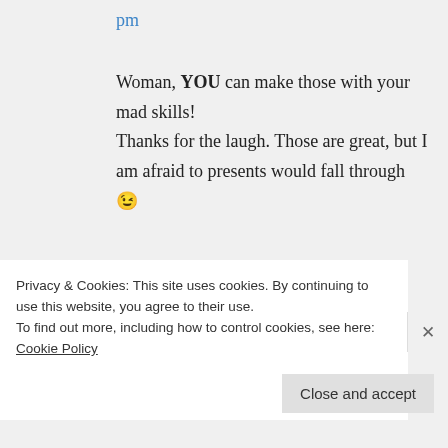pm
Woman, YOU can make those with your mad skills!
Thanks for the laugh. Those are great, but I am afraid to presents would fall through 😉
↳ Reply
Katie on November 29, 2010 at 5:45
Privacy & Cookies: This site uses cookies. By continuing to use this website, you agree to their use.
To find out more, including how to control cookies, see here: Cookie Policy
Close and accept